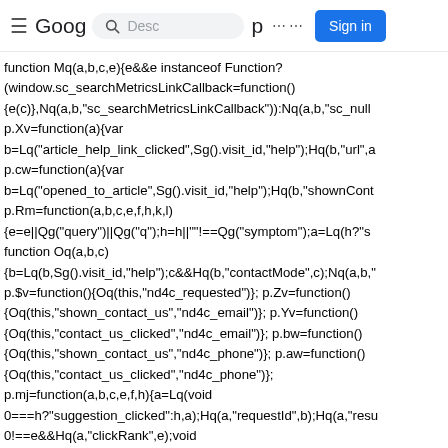≡ Goog [search box: Desc] p [grid icon] Sign in
function Mq(a,b,c,e){e&&e instanceof Function?
(window.sc_searchMetricsLinkCallback=function()
{e(c)},Nq(a,b,"sc_searchMetricsLinkCallback")):Nq(a,b,"sc_null
p.Xv=function(a){var
b=Lq("article_help_link_clicked",Sg().visit_id,"help");Hq(b,"url",a
p.cw=function(a){var
b=Lq("opened_to_article",Sg().visit_id,"help");Hq(b,"shownCont
p.Rm=function(a,b,c,e,f,h,k,l)
{e=e||Qg("query")||Qg("q");h=h||""!==Qg("symptom");a=Lq(h?"s
function Oq(a,b,c)
{b=Lq(b,Sg().visit_id,"help");c&&Hq(b,"contactMode",c);Nq(a,b,"
p.$v=function(){Oq(this,"nd4c_requested")}; p.Zv=function()
{Oq(this,"shown_contact_us","nd4c_email")}; p.Yv=function()
{Oq(this,"contact_us_clicked","nd4c_email")}; p.bw=function()
{Oq(this,"shown_contact_us","nd4c_phone")}; p.aw=function()
{Oq(this,"contact_us_clicked","nd4c_phone")};
p.mj=function(a,b,c,e,f,h){a=Lq(void
0===h?"suggestion_clicked":h,a);Hq(a,"requestId",b);Hq(a,"resu
0!==e&&Hq(a,"clickRank",e);void
0!==f&&Nq(this,a,"Functi